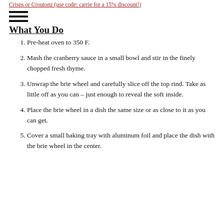Crisps or Croutonz (use code: carrie for a 15% discount!)
What You Do
Pre-heat oven to 350 F.
Mash the cranberry sauce in a small bowl and stir in the finely chopped fresh thyme.
Unwrap the brie wheel and carefully slice off the top rind. Take as little off as you can – just enough to reveal the soft inside.
Place the brie wheel in a dish the same size or as close to it as you can get.
Cover a small baking tray with aluminum foil and place the dish with the brie wheel in the center.